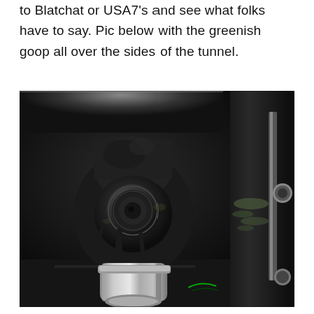to Blatchat or USA7's and see what folks have to say. Pic below with the greenish goop all over the sides of the tunnel.
[Figure (photo): Close-up photo of a black universal joint (U-joint) on a driveshaft inside a dark tunnel or vehicle undercarriage. The U-joint is coated in dark grease or goop. A shiny silver/chrome shaft extends below. To the right side of the image is a dark wall with some green residue/goop visible. A metal bar or tube is also visible on the far right edge.]